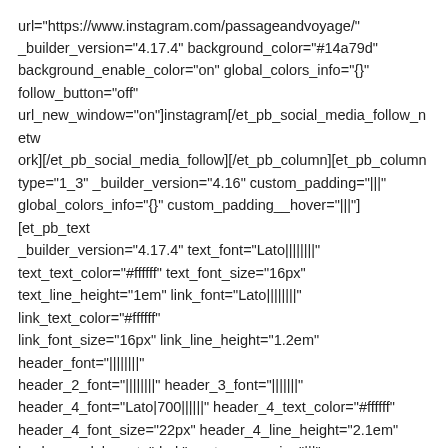url="https://www.instagram.com/passageandvoyage/" _builder_version="4.17.4" background_color="#14a79d" background_enable_color="on" global_colors_info="{}" follow_button="off" url_new_window="on"]instagram[/et_pb_social_media_follow_network][/et_pb_social_media_follow][/et_pb_column][et_pb_column type="1_3" _builder_version="4.16" custom_padding="|||" global_colors_info="{}" custom_padding__hover="|||"][et_pb_text _builder_version="4.17.4" text_font="Lato||||||||" text_text_color="#ffffff" text_font_size="16px" text_line_height="1em" link_font="Lato||||||||" link_text_color="#ffffff" link_font_size="16px" link_line_height="1.2em" header_font="||||||||" header_2_font="||||||||" header_3_font="|||||||" header_4_font="Lato|700||||||" header_4_text_color="#ffffff" header_4_font_size="22px" header_4_line_height="2.1em" background_layout="dark" custom_margin="|||" global_colors_info="{}"]